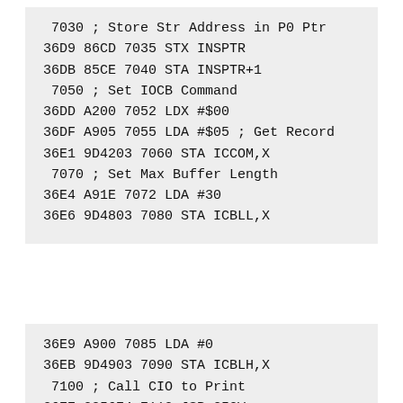7030 ; Store Str Address in P0 Ptr
36D9 86CD 7035 STX INSPTR
36DB 85CE 7040 STA INSPTR+1
 7050 ; Set IOCB Command
36DD A200 7052 LDX #$00
36DF A905 7055 LDA #$05 ; Get Record
36E1 9D4203 7060 STA ICCOM,X
 7070 ; Set Max Buffer Length
36E4 A91E 7072 LDA #30
36E6 9D4803 7080 STA ICBLL,X
36E9 A900 7085 LDA #0
36EB 9D4903 7090 STA ICBLH,X
 7100 ; Call CIO to Print
36EE 2056E4 7110 JSR CIOV
 7115 ; Get # chars input